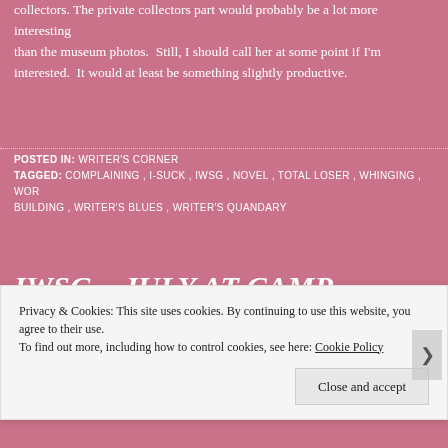collectors. The private collectors part would probably be a lot more interesting than the museum photos. Still, I should call her at some point if I'm interested. It would at least be something slightly productive.
POSTED IN: WRITER'S CORNER
TAGGED: COMPLAINING, I-SUCK, IWSG, NOVEL, TOTAL LOSER, WHINGING, WORLD BUILDING, WRITER'S BLUES, WRITER'S QUANDARY
IWSG – JULY AT CAMP NOTNANO
PUBLISHED JULY 1, 2020 BY IPHIS OF SCYROS
Ack, I totally forgot the first was a Wednesday! Normally, I pre-schedule posts to go up first thing in the morning, but today... *sigh* Well, at l
Privacy & Cookies: This site uses cookies. By continuing to use this website, you agree to their use.
To find out more, including how to control cookies, see here: Cookie Policy
Close and accept